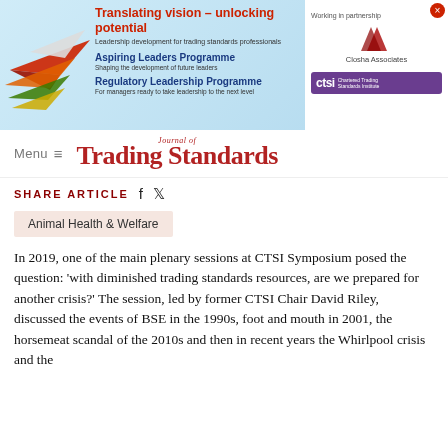[Figure (infographic): Banner advertisement for leadership development programmes for trading standards professionals. Title: 'Translating vision - unlocking potential'. Features paper planes graphic, Aspiring Leaders Programme and Regulatory Leadership Programme details, with Closha Associates and CTSI (Chartered Trading Standards Institute) logos on right side.]
Menu ≡    Journal of Trading Standards
SHARE ARTICLE  f  𝕏
Animal Health & Welfare
In 2019, one of the main plenary sessions at CTSI Symposium posed the question: 'with diminished trading standards resources, are we prepared for another crisis?' The session, led by former CTSI Chair David Riley, discussed the events of BSE in the 1990s, foot and mouth in 2001, the horsemeat scandal of the 2010s and then in recent years the Whirlpool crisis and the